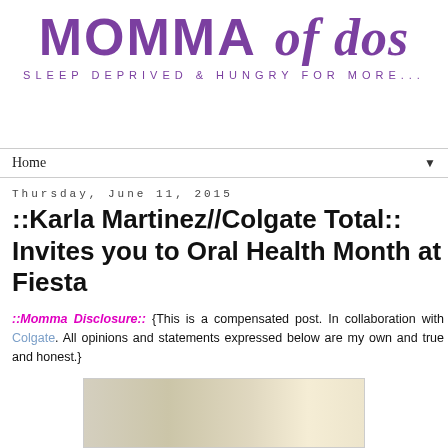[Figure (logo): Blog logo: MOMMA of dos — Sleep Deprived & Hungry for More... in purple]
Home ▼
Thursday, June 11, 2015
::Karla Martinez//Colgate Total:: Invites you to Oral Health Month at Fiesta
::Momma Disclosure:: {This is a compensated post. In collaboration with Colgate. All opinions and statements expressed below are my own and true and honest.}
[Figure (photo): Partial photo at bottom of page, cropped]